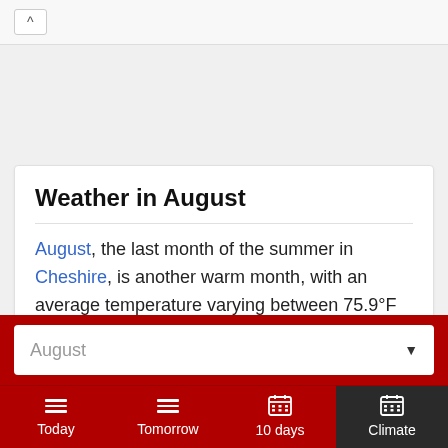^
Weather in August
August, the last month of the summer in Cheshire, is another warm month, with an average temperature varying between 75.9°F (24.4°C) and 56.3°F (13.5°C).
August ▼
Today | Tomorrow | 10 days | Climate